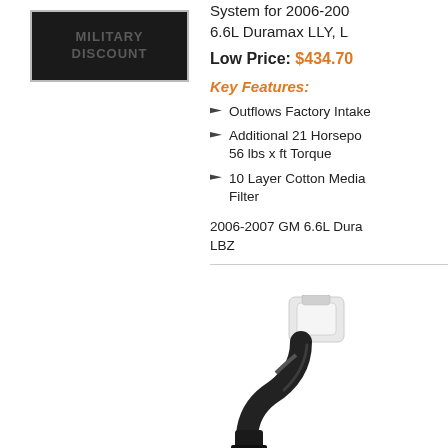[Figure (photo): Military Discount badge — black background with gray text reading MILITARY DISCOUNT, framed by a gray border]
System for 2006-2007 6.6L Duramax LLY, LBZ
Low Price: $434.70
Key Features:
Outflows Factory Intake
Additional 21 Horsepower & 56 lbs x ft Torque
10 Layer Cotton Media Filter
2006-2007 GM 6.6L Duramax LBZ
[Figure (photo): Product photo of a black intake pipe/elbow component with a white filter assembly attached at the top]